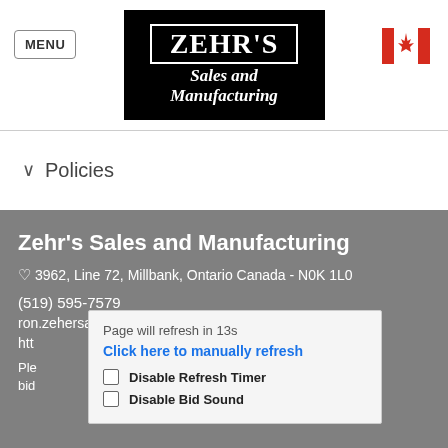[Figure (logo): Zehr's Sales and Manufacturing logo — black background with white serif text]
MENU
∨  Policies
Zehr's Sales and Manufacturing
3962, Line 72, Millbank, Ontario Canada - N0K 1L0
(519) 595-7579
ron.zehersales.manufacturing@gmail.com
htt
Page will refresh in 13s
Click here to manually refresh
Disable Refresh Timer
Disable Bid Sound
Ple  th registration or bid  nbiz.com,